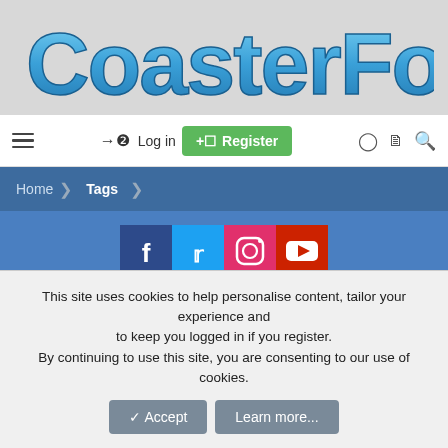[Figure (logo): CoasterForce logo in blue 3D-style text on grey background]
≡  → Log in  ⊞ Register  ◐  ❏  🔍
Home › Tags
[Figure (infographic): Social media icons: Facebook (dark blue), Twitter (light blue), Instagram (pink/red), YouTube (red)]
alton towers
This site uses cookies to help personalise content, tailor your experience and to keep you logged in if you register. By continuing to use this site, you are consenting to our use of cookies.
✓ Accept   Learn more...